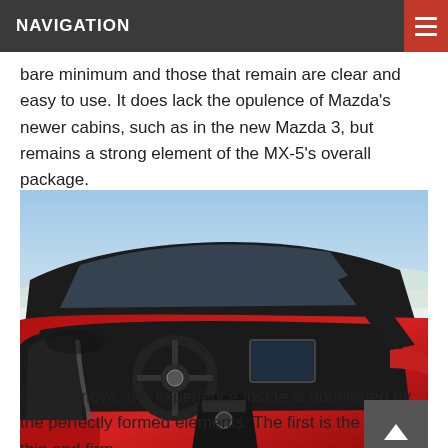NAVIGATION
bare minimum and those that remain are clear and easy to use. It does lack the opulence of Mazda’s newer cabins, such as in the new Mazda 3, but remains a strong element of the MX-5’s overall package.
[Figure (photo): Interior view of a red Mazda MX-5 convertible with top down, showing steering wheel, dashboard, seats, and a snowy winter landscape in the background.]
On the move, the experience inside is dominated by the perfectly formed elements. The first is the round, thin and firm